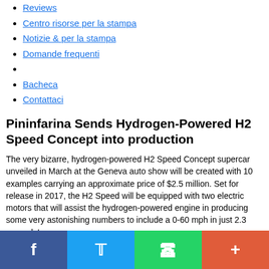Reviews
Centro risorse per la stampa
Notizie & per la stampa
Domande frequenti
Bacheca
Contattaci
Pininfarina Sends Hydrogen-Powered H2 Speed Concept into production
The very bizarre, hydrogen-powered H2 Speed Concept supercar unveiled in March at the Geneva auto show will be created with 10 examples carrying an approximate price of $2.5 million. Set for release in 2017, the H2 Speed will be equipped with two electric motors that will assist the hydrogen-powered engine in producing some very astonishing numbers to include a 0-60 mph in just 2.3 seconds!
[Figure (photo): Gray placeholder image area for article photo]
Social share bar: Facebook, Twitter, WhatsApp, More